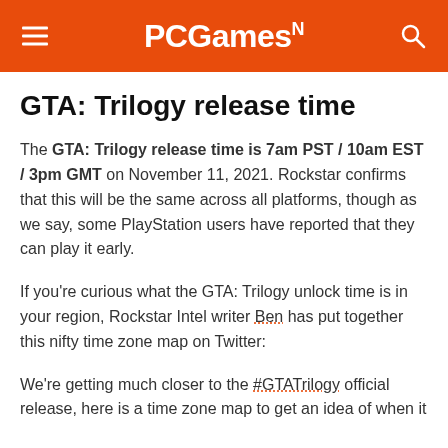PCGamesN
GTA: Trilogy release time
The GTA: Trilogy release time is 7am PST / 10am EST / 3pm GMT on November 11, 2021. Rockstar confirms that this will be the same across all platforms, though as we say, some PlayStation users have reported that they can play it early.
If you're curious what the GTA: Trilogy unlock time is in your region, Rockstar Intel writer Ben has put together this nifty time zone map on Twitter:
We're getting much closer to the #GTATrilogy official release, here is a time zone map to get an idea of when it